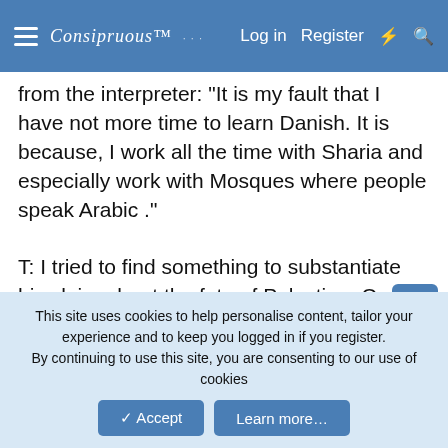Consipruous [logo] | Log in | Register
from the interpreter: "It is my fault that I have not more time to learn Danish. It is because, I work all the time with Sharia and especially work with Mosques where people speak Arabic ."
T: I tried to find something to substantiate his claim about the fate of Palestine. One article follows, it has date but no year.
http://www.jewwatch.com/jew-worldconspiracies-zionism-part2.html#anchor55529
APRIL 29, 10:10 EDT
This site uses cookies to help personalise content, tailor your experience and to keep you logged in if you register.
By continuing to use this site, you are consenting to our use of cookies
✓ Accept | Learn more...